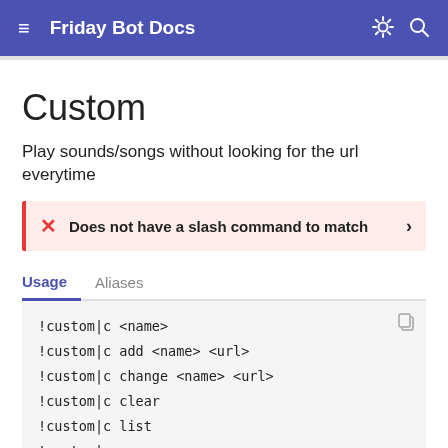Friday Bot Docs
Custom
Play sounds/songs without looking for the url everytime
Does not have a slash command to match
Usage   Aliases
!custom|c <name>
!custom|c add <name> <url>
!custom|c change <name> <url>
!custom|c clear
!custom|c list
!custom|c remove <name>